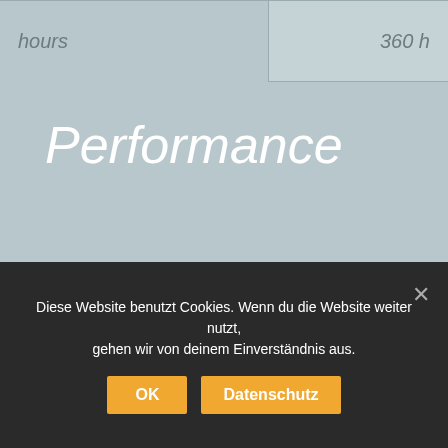| hours | 360 h |
Performance
| Towing capacity | Maximum towing capacity | 44.000 lbs |
Diese Website benutzt Cookies. Wenn du die Website weiter nutzt, gehen wir von deinem Einverständnis aus.